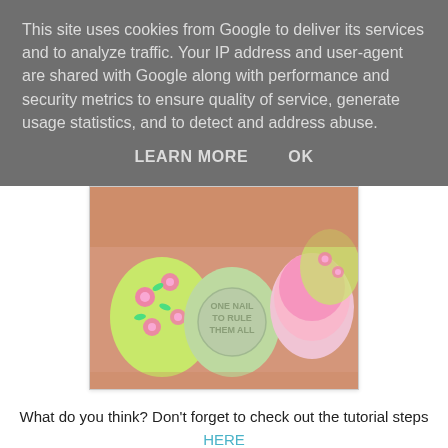This site uses cookies from Google to deliver its services and to analyze traffic. Your IP address and user-agent are shared with Google along with performance and security metrics to ensure quality of service, generate usage statistics, and to detect and address abuse.
LEARN MORE   OK
[Figure (photo): Close-up photo of toenails painted with floral nail art on a yellow-green base with pink roses and green leaves, center nail has a circular logo reading ONE NAIL TO RULE THEM ALL, right nail is plain pink gradient]
What do you think? Don't forget to check out the tutorial steps HERE
Alice
One Nail To Rule Them All at 13:59   9 comments: